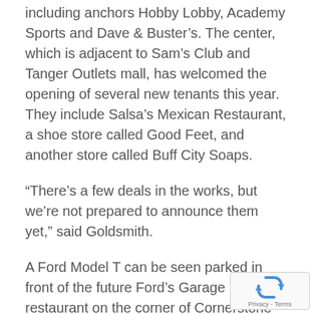including anchors Hobby Lobby, Academy Sports and Dave & Buster's. The center, which is adjacent to Sam's Club and Tanger Outlets mall, has welcomed the opening of several new tenants this year. They include Salsa's Mexican Restaurant, a shoe store called Good Feet, and another store called Buff City Soaps.
“There’s a few deals in the works, but we’re not prepared to announce them yet,” said Goldsmith.
A Ford Model T can be seen parked in front of the future Ford’s Garage restaurant on the corner of Cornerstone and Outlet boulevards. It will be the chain’s first location in the Volusia-Flagler area.
“We’ve been told they expect to open by either end of this year or in the first month or two of
[Figure (other): reCAPTCHA widget with recycling arrows icon and 'Privacy - Terms' text]